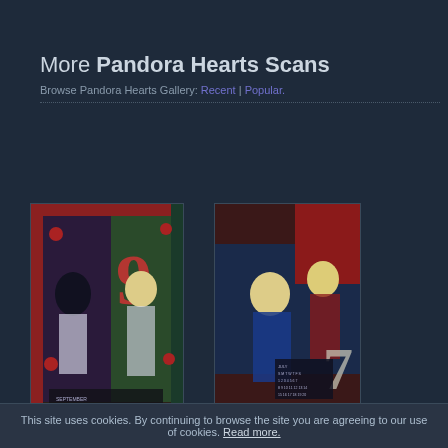More Pandora Hearts Scans
Browse Pandora Hearts Gallery: Recent | Popular.
[Figure (illustration): Pandora Hearts manga calendar scan showing two characters in stained glass style with roses and the number 9]
Pandora Hearts
[Figure (illustration): Pandora Hearts manga calendar scan showing two blonde characters in blue and red outfits with the number 7]
Pandora Hearts
This site uses cookies. By continuing to browse the site you are agreeing to our use of cookies. Read more.